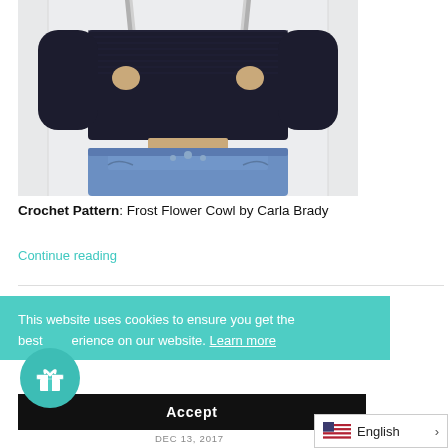[Figure (photo): A woman in a black long-sleeve fitted top and light blue jeans, holding braided rope straps, cropped to show torso only.]
Crochet Pattern: Frost Flower Cowl by Carla Brady
Continue reading
This website uses cookies to ensure you get the best experience on our website. Learn more
Accept
English
DEC 13, 2017